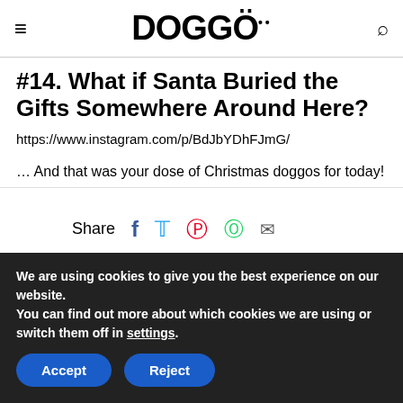DOGGO
#14. What if Santa Buried the Gifts Somewhere Around Here?
https://www.instagram.com/p/BdJbYDhFJmG/
… And that was your dose of Christmas doggos for today!
Share
We are using cookies to give you the best experience on our website.
You can find out more about which cookies we are using or switch them off in settings.